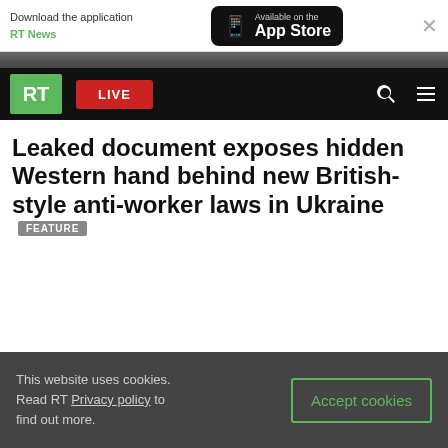Download the application RT News — Available on the App Store
RT LIVE
Leaked document exposes hidden Western hand behind new British-style anti-worker laws in Ukraine FEATURE
This website uses cookies. Read RT Privacy policy to find out more.
Accept cookies